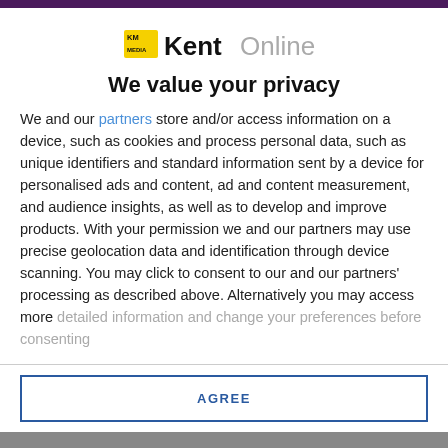[Figure (logo): KM KentOnline logo — yellow KM box followed by 'Kent' in black bold and 'Online' in grey]
We value your privacy
We and our partners store and/or access information on a device, such as cookies and process personal data, such as unique identifiers and standard information sent by a device for personalised ads and content, ad and content measurement, and audience insights, as well as to develop and improve products. With your permission we and our partners may use precise geolocation data and identification through device scanning. You may click to consent to our and our partners' processing as described above. Alternatively you may access more detailed information and change your preferences before consenting
AGREE
MORE OPTIONS